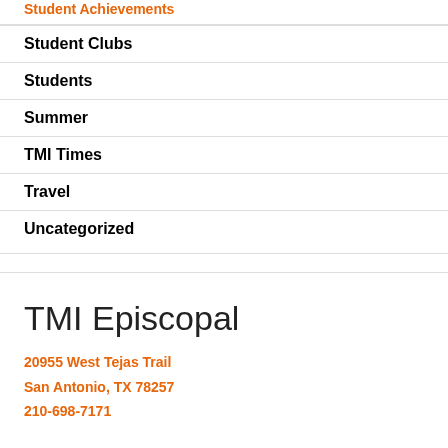Student Achievements
Student Clubs
Students
Summer
TMI Times
Travel
Uncategorized
TMI Episcopal
20955 West Tejas Trail
San Antonio, TX 78257
210-698-7171